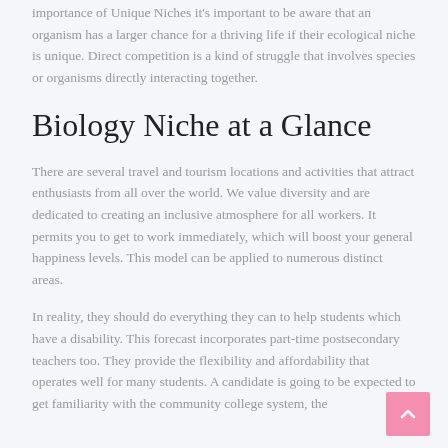importance of Unique Niches it's important to be aware that an organism has a larger chance for a thriving life if their ecological niche is unique. Direct competition is a kind of struggle that involves species or organisms directly interacting together.
Biology Niche at a Glance
There are several travel and tourism locations and activities that attract enthusiasts from all over the world. We value diversity and are dedicated to creating an inclusive atmosphere for all workers. It permits you to get to work immediately, which will boost your general happiness levels. This model can be applied to numerous distinct areas.
In reality, they should do everything they can to help students which have a disability. This forecast incorporates part-time postsecondary teachers too. They provide the flexibility and affordability that operates well for many students. A candidate is going to be expected to get familiarity with the community college system, the